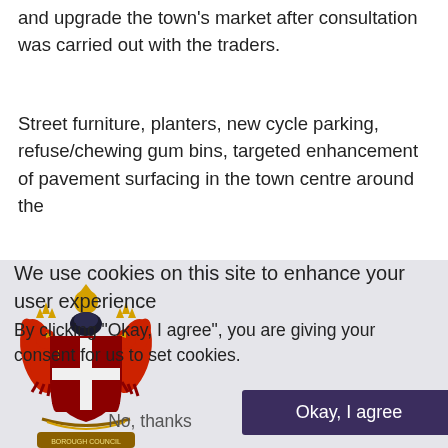and upgrade the town's market after consultation was carried out with the traders.
Street furniture, planters, new cycle parking, refuse/chewing gum bins, targeted enhancement of pavement surfacing in the town centre around the
[Figure (logo): Council coat of arms / crest with red and gold heraldic design featuring two red eagles, a shield with cross, and supporters]
We use cookies on this site to enhance your user experience
By clicking "Okay, I agree", you are giving your consent for us to set cookies.
No, thanks
Okay, I agree